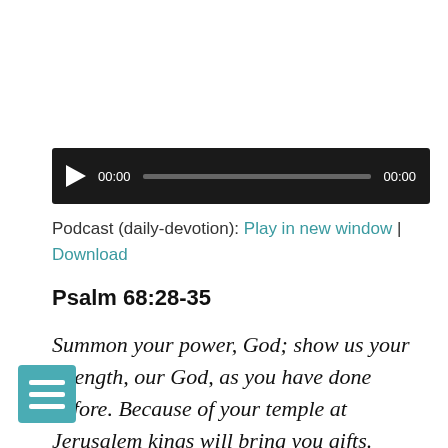[Figure (other): Audio player with play button, time display 00:00, progress bar, and end time 00:00, on a dark background]
Podcast (daily-devotion): Play in new window | Download
Psalm 68:28-35
Summon your power, God; show us your strength, our God, as you have done before. Because of your temple at Jerusalem kings will bring you gifts. Rebuke the beast among the reeds, the herd of bulls among the calves of the nations. Humbled, may the beast bring bars of silver. Scatter the nations who delight